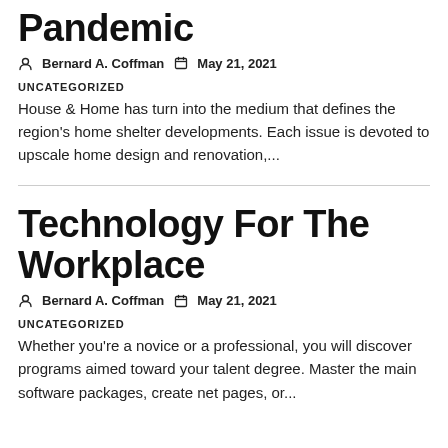Pandemic
Bernard A. Coffman   May 21, 2021
UNCATEGORIZED
House & Home has turn into the medium that defines the region's home shelter developments. Each issue is devoted to upscale home design and renovation,...
Technology For The Workplace
Bernard A. Coffman   May 21, 2021
UNCATEGORIZED
Whether you're a novice or a professional, you will discover programs aimed toward your talent degree. Master the main software packages, create net pages, or...